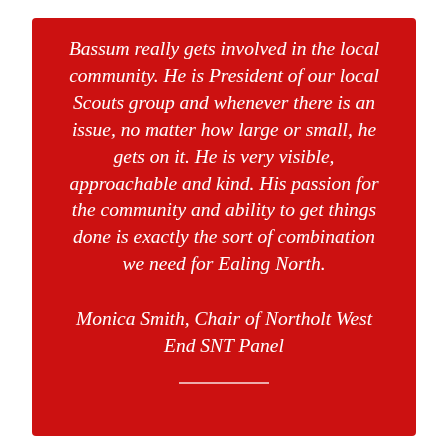Bassum really gets involved in the local community. He is President of our local Scouts group and whenever there is an issue, no matter how large or small, he gets on it. He is very visible, approachable and kind. His passion for the community and ability to get things done is exactly the sort of combination we need for Ealing North.
Monica Smith, Chair of Northolt West End SNT Panel